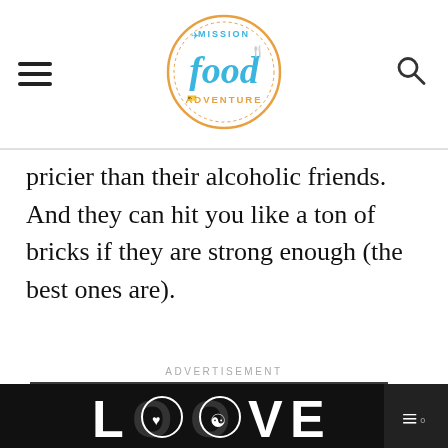Mission Food Adventure
pricier than their alcoholic friends. And they can hit you like a ton of bricks if they are strong enough (the best ones are).
ADVERTISEMENT
[Figure (photo): Chalk rainbow drawn on dark asphalt pavement with chalk sticks scattered at the base]
[Figure (photo): Bottom banner ad showing 'LOOVE' text in decorative black and white illustration style]